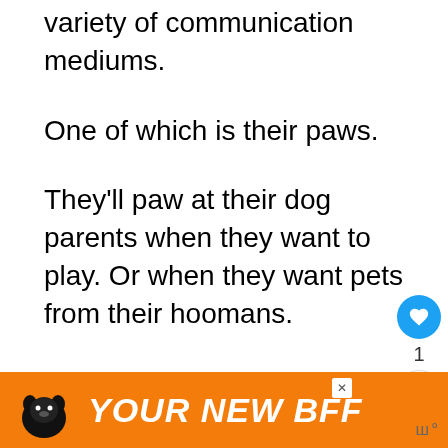variety of communication mediums.
One of which is their paws.
They'll paw at their dog parents when they want to play. Or when they want pets from their hoomans.
[Figure (screenshot): Like button (heart icon, blue circle), count of 1, and share button]
[Figure (screenshot): What's Next panel with thumbnail of a dog and text '13 Dog Breeds With Fur...']
[Figure (infographic): Orange advertisement banner reading YOUR NEW BFF with a dog illustration and a close button]